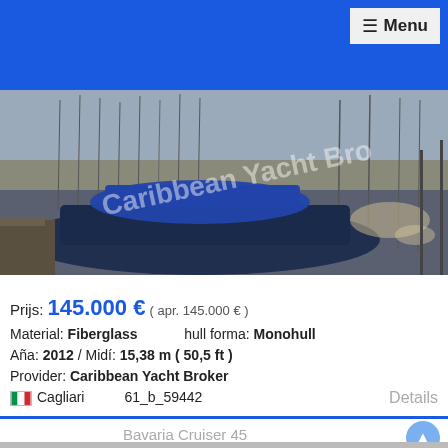≡ Menu
[Figure (photo): Marina with sailboats moored in a harbor, watermarked with 'Caribbean Yacht Broker']
Prijs: 145.000 € ( apr. 145.000 € )
Material: Fiberglass   hull forma: Monohull
Aña: 2012 / Midí: 15,38 m ( 50,5 ft )
Provider: Caribbean Yacht Broker
🇮🇹 Cagliari   61_b_59442   Details
Bavaria Cruiser 45